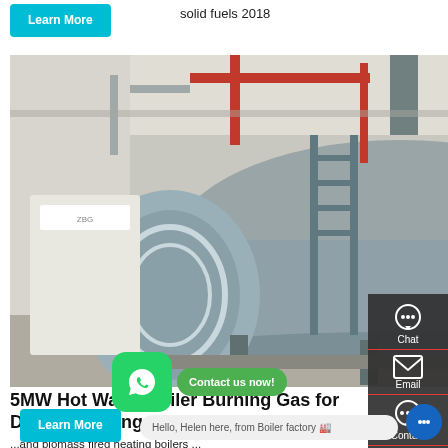solid fuels 2018
[Figure (photo): Industrial hot water boilers in a factory building — large horizontal cylindrical boilers with blue-grey casing, red piping, and steel supports inside a white warehouse space.]
5MW Hot Water Boiler Burning Gas for District Heating--ZBG
For natural gas fired hot water boiler, fire tube or water tube boilers. We have 14MW fire tube natural gas boiler used in a hotel for heating and hot water supply, 17.5MW water tube coal gas boiler used in oilfield heating. Bes... fir
and biomass fired heating boilers ...